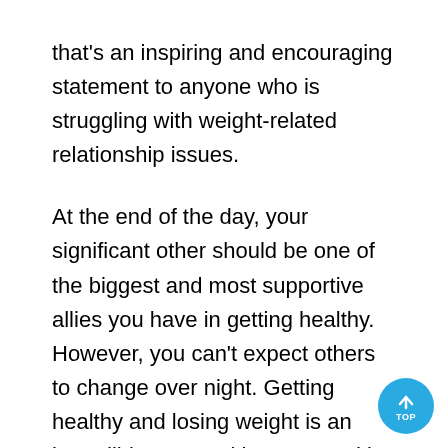that's an inspiring and encouraging statement to anyone who is struggling with weight-related relationship issues.
At the end of the day, your significant other should be one of the biggest and most supportive allies you have in getting healthy. However, you can't expect others to change over night. Getting healthy and losing weight is an incredibly personal journey, and it can't be started by telling someone what to do; it has to start with the person wanting to change. So be as nice and supportive to your partner as you'd like them to be to you. Follow the tips above and recognize what's really behind you and your partner's